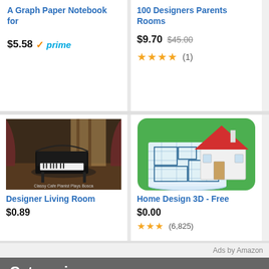A Graph Paper Notebook for
$5.58 prime
100 Designers Parents Rooms
$9.70 $45.00 ★★★★ (1)
[Figure (photo): Piano in a moody cafe living room - Classy Cafe Pianist Plays Bosca]
Designer Living Room
$0.89
[Figure (illustration): Home Design 3D app icon - house blueprint with 3D red roof model on green background]
Home Design 3D - Free
$0.00 ★★★ (6,825)
Ads by Amazon
Categories